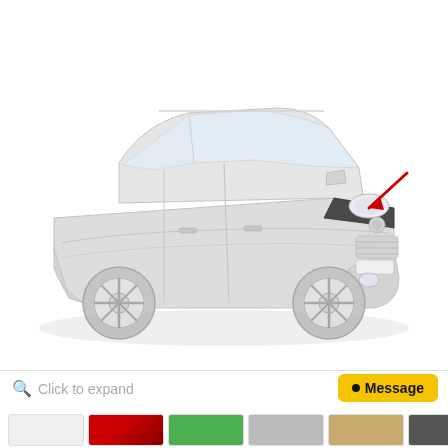[Figure (illustration): A silver sedan (Volkswagen Jetta) shown in 3/4 front-left view. The hood has a black hood deflector/protector installed. A red arrow points to the hood deflector on the front of the car.]
Click to expand
Message